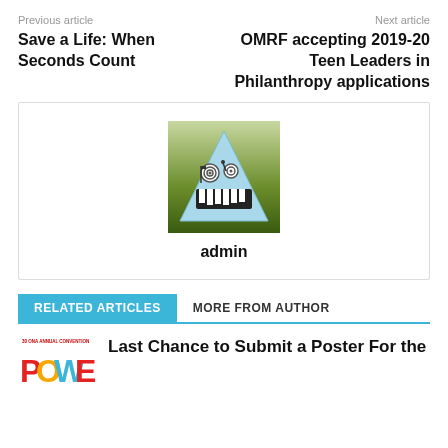Previous article | Next article
Save a Life: When Seconds Count
OMRF accepting 2019-20 Teen Leaders in Philanthropy applications
[Figure (illustration): Cartoon avatar of a triangle-shaped monster face with spiral eyes and a toothy grin, on a green/blue background]
admin
RELATED ARTICLES | MORE FROM AUTHOR
Last Chance to Submit a Poster For the